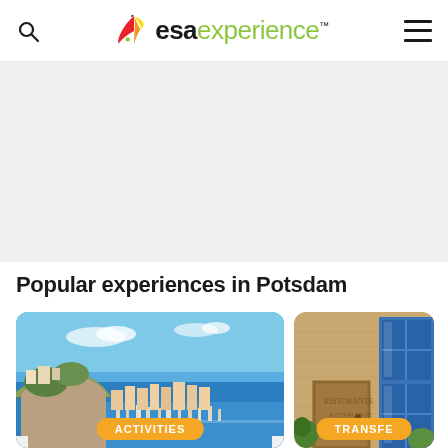[Figure (logo): ESA Experience logo with colorful bird wing icon, bold 'esa' in dark and 'experience' in green, with search and hamburger menu icons]
[Figure (photo): Large light grey hero/banner area below the header navigation]
Popular experiences in Potsdam
[Figure (photo): Aerial photo of Monaco harbor with boats, coastal cliffs and blue sea. Badge label: ACTIVITIES]
[Figure (photo): Photo of a building facade with blue windows and wooden door. Badge label: TRANSFE(R)]